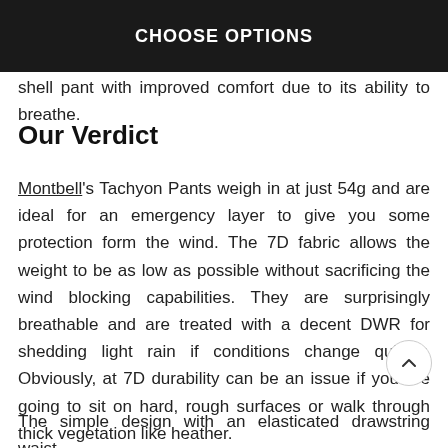CHOOSE OPTIONS
shell pant with improved comfort due to its ability to breathe.
Our Verdict
Montbell's Tachyon Pants weigh in at just 54g and are ideal for an emergency layer to give you some protection form the wind. The 7D fabric allows the weight to be as low as possible without sacrificing the wind blocking capabilities. They are surprisingly breathable and are treated with a decent DWR for shedding light rain if conditions change quickly. Obviously, at 7D durability can be an issue if you are going to sit on hard, rough surfaces or walk through thick vegetation like heather.
The simple design with an elasticated drawstring waist,